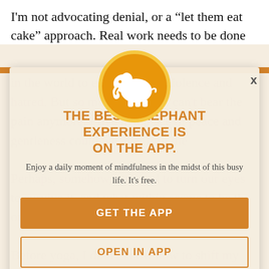I'm not advocating denial, or a “let them eat cake” approach. Real work needs to be done
[Figure (logo): Elephant Journal app logo: white elephant silhouette on an orange circle with yellow border]
THE BEST ELEPHANT EXPERIENCE IS ON THE APP.
Enjoy a daily moment of mindfulness in the midst of this busy life. It’s free.
GET THE APP
OPEN IN APP